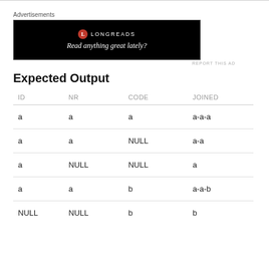[Figure (other): Advertisement banner: Longreads logo and tagline 'Read anything great lately?' on black background]
Expected Output
| ID | NR | CODE | JOINED |
| --- | --- | --- | --- |
| a | a | a | a-a-a |
| a | a | NULL | a-a |
| a | NULL | NULL | a |
| a | a | b | a-a-b |
| NULL | NULL | b | b |